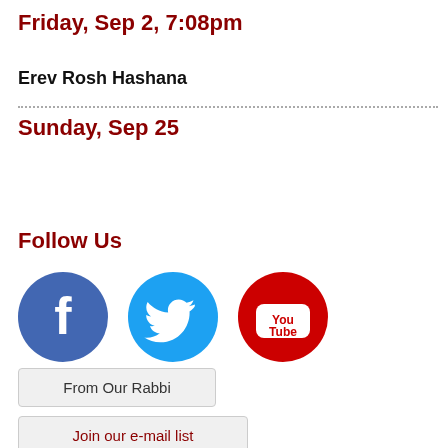Friday, Sep 2, 7:08pm
Erev Rosh Hashana
Sunday, Sep 25
Follow Us
[Figure (illustration): Three social media icons: Facebook (blue circle with white f), Twitter (light blue circle with white bird), YouTube (red circle with white You/Tube text)]
From Our Rabbi
Join our e-mail list